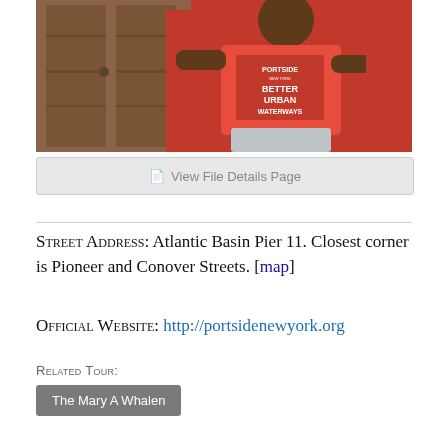[Figure (photo): Person wearing a red 'Portside New York Better Urban Waterways' t-shirt standing in front of wooden doors and a red wall]
View File Details Page
Street Address: Atlantic Basin Pier 11. Closest corner is Pioneer and Conover Streets. [map]
Official Website: http://portsidenewyork.org
Related Tour:
The Mary A Whalen